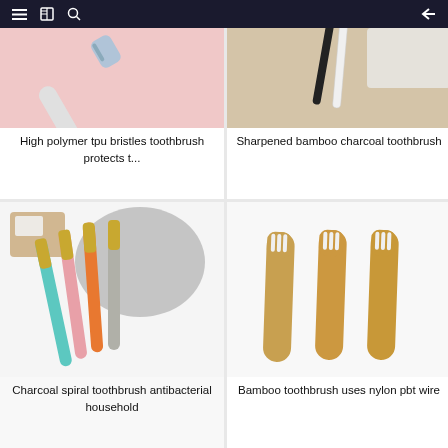[Figure (screenshot): App navigation bar with hamburger menu, book icon, search icon on left, and back arrow on right, dark navy background]
[Figure (photo): High polymer TPU bristles toothbrush on pink background, top portion of toothbrush visible]
High polymer tpu bristles toothbrush protects t...
[Figure (photo): Sharpened bamboo charcoal toothbrushes, black and white, on beige background with white cloth]
Sharpened bamboo charcoal toothbrush
[Figure (photo): Charcoal spiral toothbrushes with gold metallic accents and colorful handles (teal, pink, orange, grey) displayed on grey towel]
Charcoal spiral toothbrush antibacterial household
[Figure (photo): Three bamboo toothbrushes with natural wood handles and white nylon bristles on white background]
Bamboo toothbrush uses nylon pbt wire